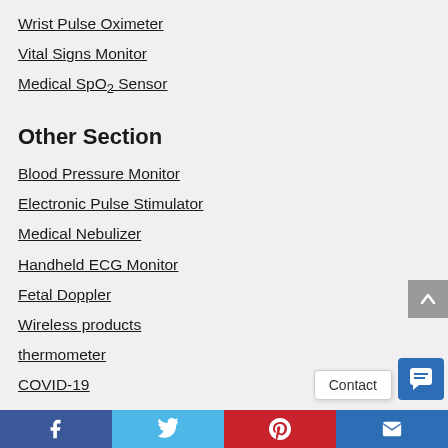Wrist Pulse Oximeter
Vital Signs Monitor
Medical SpO₂ Sensor
Other Section
Blood Pressure Monitor
Electronic Pulse Stimulator
Medical Nebulizer
Handheld ECG Monitor
Fetal Doppler
Wireless products
thermometer
COVID-19
Social links: Facebook, Twitter, Pinterest, Email